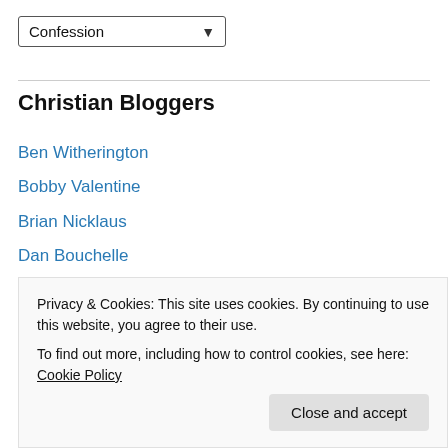[Figure (screenshot): Dropdown select box showing 'Confession' with a down arrow]
Christian Bloggers
Ben Witherington
Bobby Valentine
Brian Nicklaus
Dan Bouchelle
Eric Bryant
Frank Bellizzi
Jay Guin
Jerry Starling
Privacy & Cookies: This site uses cookies. By continuing to use this website, you agree to their use. To find out more, including how to control cookies, see here: Cookie Policy
Close and accept